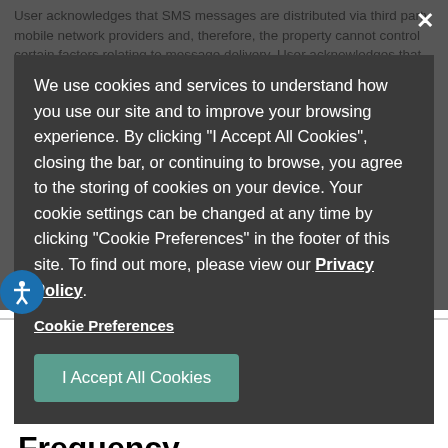User acknowledges that SMS messages are distributed via third party mobile network providers and, therefore, the property cannot control certain factors relating to message delivery. User acknowledges that, depending on the recipient's mobile provider service, it may not be possible to transmit the SMS message to the recipient successfully. Please see the carriers section below for information on supported carriers.
We use cookies and services to understand how you use our site and to improve your browsing experience. By clicking "I Accept All Cookies", closing the bar, or continuing to browse, you agree to the storing of cookies on your device. Your cookie settings can be changed at any time by clicking "Cookie Preferences" in the footer of this site. To find out more, please view our Privacy Policy.
Cookie Preferences
I Accept All Cookies
Property does not claim or guarantee availability or performance of this service, including liability for transmission delays or message failures.
Fees
Neither your apartment complex nor charges a fee for any of the subscriptions listed above. Message and Data Rates May Apply.
Frequency